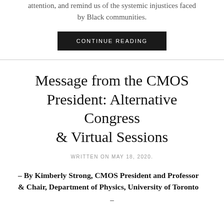attention, and remind us of the systemic injustices faced by Black communities.
CONTINUE READING
Message from the CMOS President: Alternative Congress & Virtual Sessions
WRITTEN ON MAY 18, 2020.
– By Kimberly Strong, CMOS President and Professor & Chair, Department of Physics, University of Toronto
–